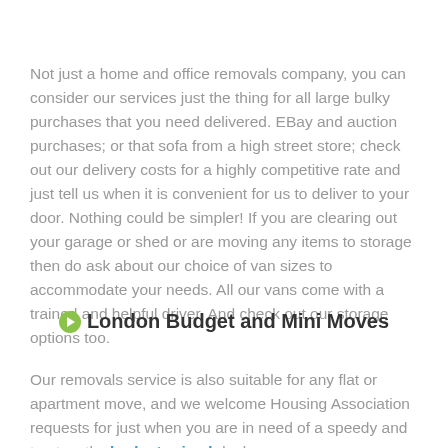Not just a home and office removals company, you can consider our services just the thing for all large bulky purchases that you need delivered. EBay and auction purchases; or that sofa from a high street store; check out our delivery costs for a highly competitive rate and just tell us when it is convenient for us to deliver to your door. Nothing could be simpler! If you are clearing out your garage or shed or are moving any items to storage then do ask about our choice of van sizes to accommodate your needs. All our vans come with a trained and helpful driver. And check out our storage options too.
London Budget and Mini Moves
Our removals service is also suitable for any flat or apartment move, and we welcome Housing Association requests for just when you are in need of a speedy and trustworthy budget priced deal on a